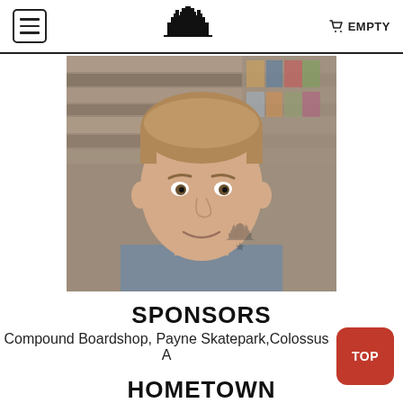☰ [logo] EMPTY
[Figure (photo): Portrait photo of a young man with short light brown hair, wearing a grey t-shirt, smiling slightly. Background shows blurred shelves with products. A watermark logo is visible in the lower right corner of the photo.]
SPONSORS
Compound Boardshop, Payne Skatepark, Colossus A
HOMETOWN